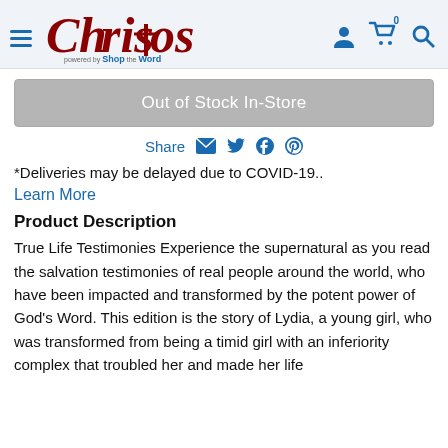[Figure (logo): Christos Bookcenter logo with hamburger menu icon on left and user/cart/search icons on right]
Out of Stock In-Store
Share
*Deliveries may be delayed due to COVID-19..
Learn More
Product Description
True Life Testimonies Experience the supernatural as you read the salvation testimonies of real people around the world, who have been impacted and transformed by the potent power of God's Word. This edition is the story of Lydia, a young girl, who was transformed from being a timid girl with an inferiority complex that troubled her and made her life